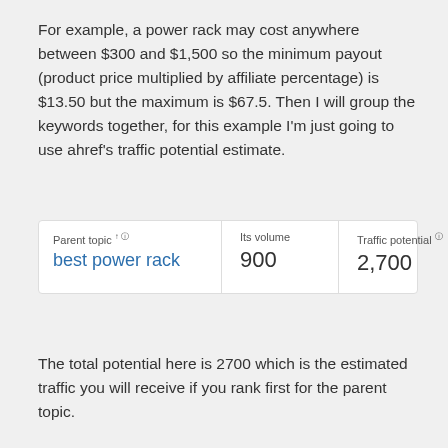For example, a power rack may cost anywhere between $300 and $1,500 so the minimum payout (product price multiplied by affiliate percentage) is $13.50 but the maximum is $67.5. Then I will group the keywords together, for this example I'm just going to use ahref's traffic potential estimate.
[Figure (screenshot): Ahrefs keyword data table showing: Parent topic 'best power rack', Its volume 900, Traffic potential 2,700]
The total potential here is 2700 which is the estimated traffic you will receive if you rank first for the parent topic.